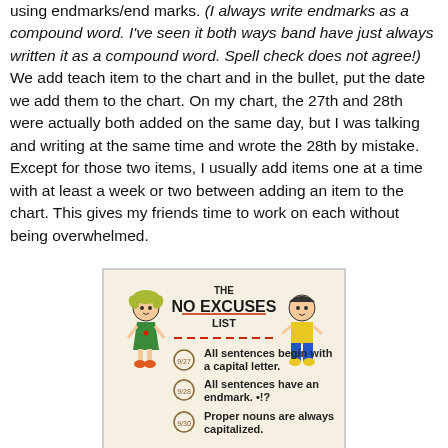using endmarks/end marks. (I always write endmarks as a compound word. I've seen it both ways band have just always written it as a compound word. Spell check does not agree!) We add teach item to the chart and in the bullet, put the date we add them to the chart. On my chart, the 27th and 28th were actually both added on the same day, but I was talking and writing at the same time and wrote the 28th by mistake.  Except for those two items, I usually add items one at a time with at least a week or two between adding an item to the chart. This gives my friends time to work on each without being overwhelmed.
[Figure (photo): A hand-drawn anchor chart titled 'THE NO EXCUSES LIST' with two cartoon stick figures (a girl in a green dress and a boy in a yellow shirt with blue pants) and three bulleted items: 1) All sentences begin with a capital letter. 2) All sentences have an endmark. •!? 3) Proper nouns are always capitalized.]